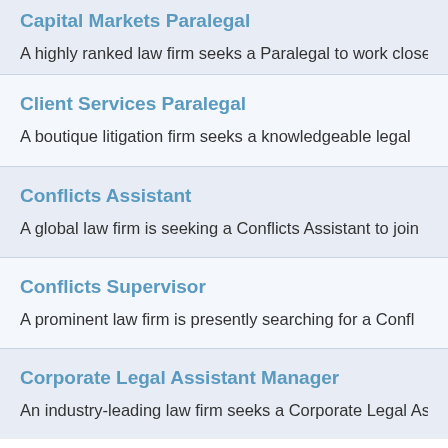Capital Markets Paralegal
A highly ranked law firm seeks a Paralegal to work close
Client Services Paralegal
A boutique litigation firm seeks a knowledgeable legal
Conflicts Assistant
A global law firm is seeking a Conflicts Assistant to join
Conflicts Supervisor
A prominent law firm is presently searching for a Confl
Corporate Legal Assistant Manager
An industry-leading law firm seeks a Corporate Legal As